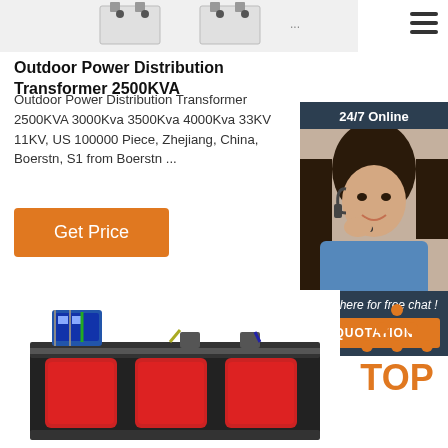[Figure (photo): Top bar with product transformer images (partial view of transformers, white background)]
Outdoor Power Distribution Transformer 2500KVA
Outdoor Power Distribution Transformer 2500KVA 3000Kva 3500Kva 4000Kva 33KV 11KV, US 100000 Piece, Zhejiang, China, Boerstn, S1 from Boerstn ...
[Figure (photo): 24/7 Online chat widget with a female customer service representative wearing a headset, with 'Click here for free chat!' text and QUOTATION button]
[Figure (photo): Outdoor power distribution dry-type transformer with red coil windings and black enclosure, shown at an angle]
[Figure (illustration): TOP button graphic with orange dots arranged in a triangle above the word TOP in orange]